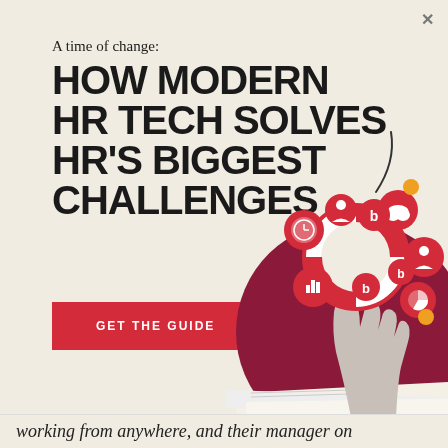A time of change:
HOW MODERN HR TECH SOLVES HR'S BIGGEST CHALLENGES
[Figure (illustration): Illustrated scene showing a hand reaching up from a dark red circle surrounded by papers, tossing a life preserver ring with HR/tech icons (clock, chart, cloud, etc.) floating around it. A curved line like a mouse cord extends upward. Small orange dots as decorative accents.]
GET THE GUIDE
working from anywhere, and their manager on